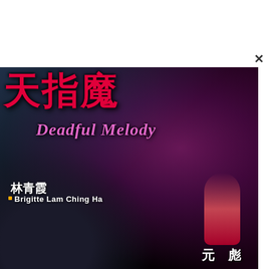[Figure (photo): Movie poster for 'Deadful Melody' (Chinese title: 大指魔 or similar), featuring a dark atmospheric background with a woman in dramatic makeup and lighting in red/purple tones, and a figure in dark patterned clothing in the foreground. Text includes Chinese title characters in red at top, English subtitle 'Deadful Melody' in pink italic, actor credit '林青霞 / Brigitte Lam Ching Ha' and director '元彪' at bottom right.]
Deadful Melody
林青霞
Brigitte Lam Ching Ha
元 彪